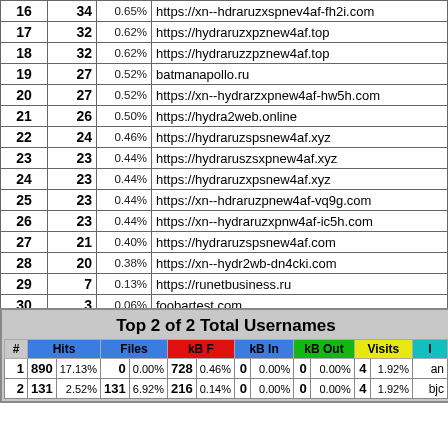| # | Hits | % | URL |
| --- | --- | --- | --- |
| 16 | 34 | 0.65% | https://xn--hdraruzxspnev4af-fh2i.com |
| 17 | 32 | 0.62% | https://hydraruzxpznew4af.top |
| 18 | 32 | 0.62% | https://hydraruzzpznew4af.top |
| 19 | 27 | 0.52% | batmanapollo.ru |
| 20 | 27 | 0.52% | https://xn--hydrarzxpnew4af-hw5h.com |
| 21 | 26 | 0.50% | https://hydra2web.online |
| 22 | 24 | 0.46% | https://hydraruzspsnew4af.xyz |
| 23 | 23 | 0.44% | https://hydraruszsxpnew4af.xyz |
| 24 | 23 | 0.44% | https://hydraruzxpsnew4af.xyz |
| 25 | 23 | 0.44% | https://xn--hdraruzpnew4af-vq9g.com |
| 26 | 23 | 0.44% | https://xn--hydraruzxpnw4af-ic5h.com |
| 27 | 21 | 0.40% | https://hydraruzspsnew4af.com |
| 28 | 20 | 0.38% | https://xn--hydr2wb-dn4cki.com |
| 29 | 7 | 0.13% | https://runetbusiness.ru |
| 30 | 3 | 0.06% | foobartest.com |
| # | Hits |  | Files |  | kB F |  | kB In |  | kB Out |  | Visits |  | ? |
| --- | --- | --- | --- | --- | --- | --- | --- | --- | --- | --- | --- | --- | --- |
| 1 | 890 | 17.13% | 0 | 0.00% | 728 | 0.46% | 0 | 0.00% | 0 | 0.00% | 4 | 1.92% | an |
| 2 | 131 | 2.52% | 131 | 6.92% | 216 | 0.14% | 0 | 0.00% | 0 | 0.00% | 4 | 1.92% | bjc |